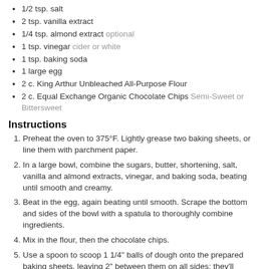1/2 tsp. salt
2 tsp. vanilla extract
1/4 tsp. almond extract optional
1 tsp. vinegar cider or white
1 tsp. baking soda
1 large egg
2 c. King Arthur Unbleached All-Purpose Flour
2 c. Equal Exchange Organic Chocolate Chips Semi-Sweet or Bittersweet
Instructions
Preheat the oven to 375°F. Lightly grease two baking sheets, or line them with parchment paper.
In a large bowl, combine the sugars, butter, shortening, salt, vanilla and almond extracts, vinegar, and baking soda, beating until smooth and creamy.
Beat in the egg, again beating until smooth. Scrape the bottom and sides of the bowl with a spatula to thoroughly combine ingredients.
Mix in the flour, then the chocolate chips.
Use a spoon to scoop 1 1/4" balls of dough onto the prepared baking sheets, leaving 2" between them on all sides; they'll spread while baking.
Bake the cookies for 11 to 12 minutes, until edges are chestnut brown and tops are light golden brown. Remove from the oven, and cool on the pan until they've set enough to move without breaking. Repeat with the remaining dough.
Recipe Notes
Adapted from King Arthur Flour's Chocolate Chip Cookies recipe.